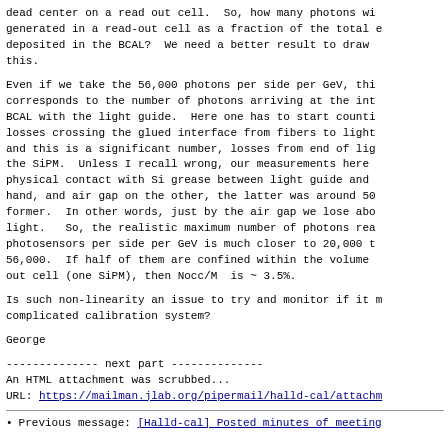dead center on a read out cell.  So, how many photons wi generated in a read-out cell as a fraction of the total e deposited in the BCAL?  We need a better result to draw this.
Even if we take the 56,000 photons per side per GeV, this corresponds to the number of photons arriving at the inte BCAL with the light guide.  Here one has to start counti losses crossing the glued interface from fibers to light and this is a significant number, losses from end of ligh the SiPM.  Unless I recall wrong, our measurements here physical contact with Si grease between light guide and P hand, and air gap on the other, the latter was around 50 former.  In other words, just by the air gap we lose abou light.   So, the realistic maximum number of photons rea photosensors per side per GeV is much closer to 20,000 t 56,000.  If half of them are confined within the volume out cell (one SiPM), then Nocc/M  is ~ 3.5%.
Is such non-linearity an issue to try and monitor if it complicated calibration system?
George
-------------- next part --------------
An HTML attachment was scrubbed...
URL: https://mailman.jlab.org/pipermail/halld-cal/attachm
Previous message: [Halld-cal] Posted minutes of meeting